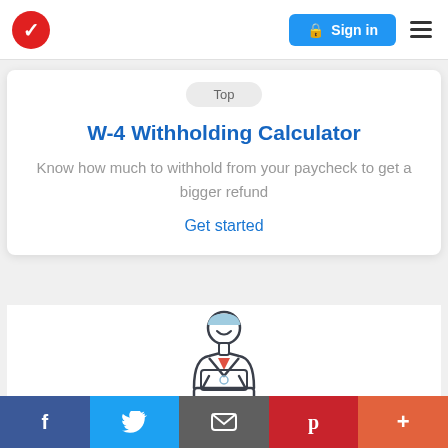TurboTax — Sign in
W-4 Withholding Calculator
Know how much to withhold from your paycheck to get a bigger refund
Get started
[Figure (illustration): Illustration of a person sitting at a laptop computer, wearing a red collar shirt, with light blue hair]
f  (twitter bird)  (email)  p  +